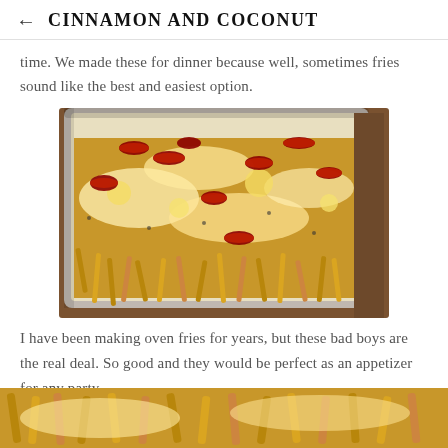← CINNAMON AND COCONUT
time. We made these for dinner because well, sometimes fries sound like the best and easiest option.
[Figure (photo): Close-up photo of loaded oven fries with melted cheese and bacon pieces on a baking sheet, shot from above at an angle]
I have been making oven fries for years, but these bad boys are the real deal. So good and they would be perfect as an appetizer for any party.
[Figure (photo): Partial bottom photo of fries, cropped at bottom of page]